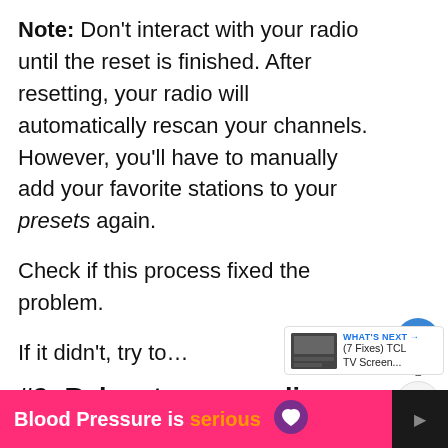Note: Don't interact with your radio until the reset is finished. After resetting, your radio will automatically rescan your channels. However, you'll have to manually add your favorite stations to your presets again.
Check if this process fixed the problem.
If it didn't, try to…
#2: Relocate your radio
[Figure (screenshot): Ad banner at the bottom: pink background with text 'Blood Pressure is serious' and a heart icon, alongside a dark sidebar strip]
[Figure (screenshot): Floating UI: heart button (blue circle with heart icon) showing count '1', and share button below it. Also a 'WHAT'S NEXT' card with thumbnail and text '(7 Fixes) TCL TV Screen...']